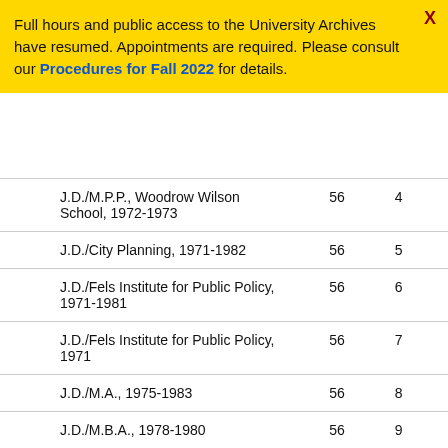Full hours and public access to the University Archives have resumed. Appointments are required. Please consult our Procedures for Fall 2022 for details.
| J.D./M.P.P., Woodrow Wilson School, 1972-1973 | 56 | 4 |
| J.D./City Planning, 1971-1982 | 56 | 5 |
| J.D./Fels Institute for Public Policy, 1971-1981 | 56 | 6 |
| J.D./Fels Institute for Public Policy, 1971 | 56 | 7 |
| J.D./M.A., 1975-1983 | 56 | 8 |
| J.D./M.B.A., 1978-1980 | 56 | 9 |
| J.D./M.D., 1976-1983 | 56 | 10 |
| J.D./M.D., Proposed Program, 1966-1978 | 56 | 11 |